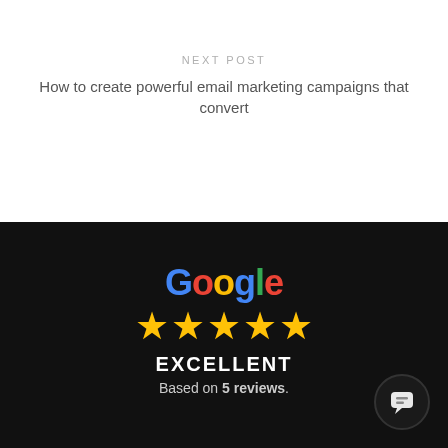NEXT POST
How to create powerful email marketing campaigns that convert
[Figure (logo): Google logo with colored letters, five gold stars, text EXCELLENT and Based on 5 reviews. on a black background, with a chat bubble icon in lower right.]